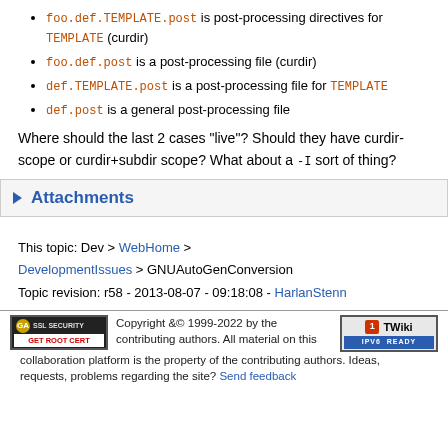foo.def.TEMPLATE.post is post-processing directives for TEMPLATE (curdir)
foo.def.post is a post-processing file (curdir)
def.TEMPLATE.post is a post-processing file for TEMPLATE
def.post is a general post-processing file
Where should the last 2 cases "live"? Should they have curdir-scope or curdir+subdir scope? What about a -I sort of thing?
Attachments
This topic: Dev > WebHome > DevelopmentIssues > GNUAutoGenConversion
Topic revision: r58 - 2013-08-07 - 09:18:08 - HarlanStenn
Copyright &© 1999-2022 by the contributing authors. All material on this collaboration platform is the property of the contributing authors. Ideas, requests, problems regarding the site? Send feedback